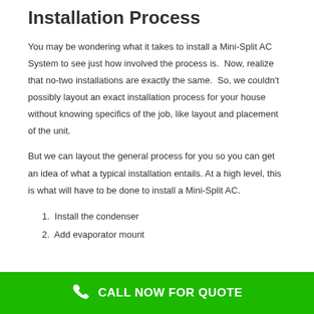Installation Process
You may be wondering what it takes to install a Mini-Split AC System to see just how involved the process is.  Now, realize that no-two installations are exactly the same.  So, we couldn't possibly layout an exact installation process for your house without knowing specifics of the job, like layout and placement of the unit.
But we can layout the general process for you so you can get an idea of what a typical installation entails. At a high level, this is what will have to be done to install a Mini-Split AC.
1. Install the condenser
2. Add evaporator mount
CALL NOW FOR QUOTE